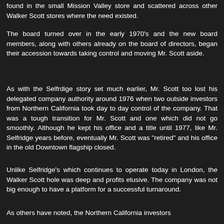found in the small Mission Valley store and scattered across other Walker Scott stores where the need existed.
The board turned over in the early 1970's and the new board members, along with others already on the board of directors, began their accession towards taking control and moving Mr. Scott aside.
As with the Selfrdige story set much earlier, Mr. Scott too lost his delegated company authority around 1976 when two outside investors from Northern California took day to day control of the company. That was a tough transition for Mr. Scott and one which did not go smoothly. Although he kept his office and a title until 1977, like Mr. Selfridge years before, eventually Mr. Scott was "retired" and his office in the old Downtown flagship closed.
Unlike Selfridge's which continues to operate today in London, the Walker Scott hole was deep and profits elusive. The company was not big enough to have a platform for a successful turnaround.
As others have noted, the Northern California investors